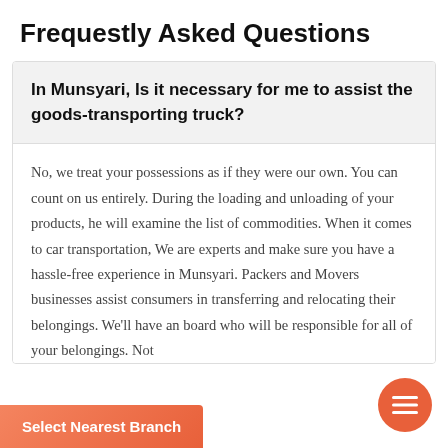Frequestly Asked Questions
In Munsyari, Is it necessary for me to assist the goods-transporting truck?
No, we treat your possessions as if they were our own. You can count on us entirely. During the loading and unloading of your products, he will examine the list of commodities. When it comes to car transportation, We are experts and make sure you have a hassle-free experience in Munsyari. Packers and Movers businesses assist consumers in transferring and relocating their belongings. We'll have an board who will be responsible for all of your belongings. Not
Select Nearest Branch